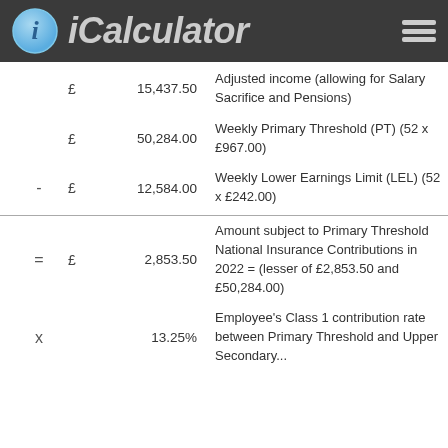iCalculator
|  | op | sym | value | description |
| --- | --- | --- | --- | --- |
|  |  | £ | 15,437.50 | Adjusted income (allowing for Salary Sacrifice and Pensions) |
|  |  | £ | 50,284.00 | Weekly Primary Threshold (PT) (52 x £967.00) |
|  | - | £ | 12,584.00 | Weekly Lower Earnings Limit (LEL) (52 x £242.00) |
|  | = | £ | 2,853.50 | Amount subject to Primary Threshold National Insurance Contributions in 2022 = (lesser of £2,853.50 and £50,284.00) |
|  | x |  | 13.25% | Employee's Class 1 contribution rate between Primary Threshold and Upper Secondary... |